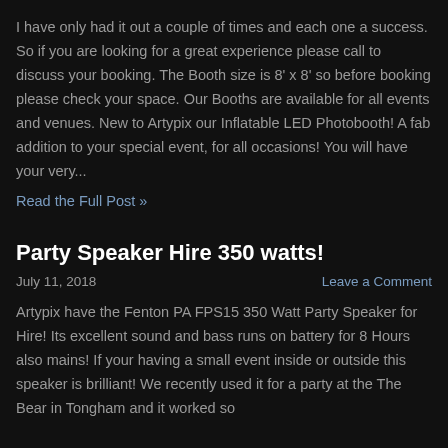I have only had it out a couple of times and each one a success. So if you are looking for a great experience please call to discuss your booking. The Booth size is 8' x 8' so before booking please check your space. Our Booths are available for all events and venues. New to Artypix our Inflatable LED Photobooth! A fab addition to your special event, for all occasions! You will have your very...
Read the Full Post »
Party Speaker Hire 350 watts!
July 11, 2018
Leave a Comment
Artypix have the Fenton PA FPS15 350 Watt Party Speaker for Hire! Its excellent sound and bass runs on battery for 8 Hours also mains! If your having a small event inside or outside this speaker is brilliant! We recently used it for a party at the The Bear in Tongham and it worked so